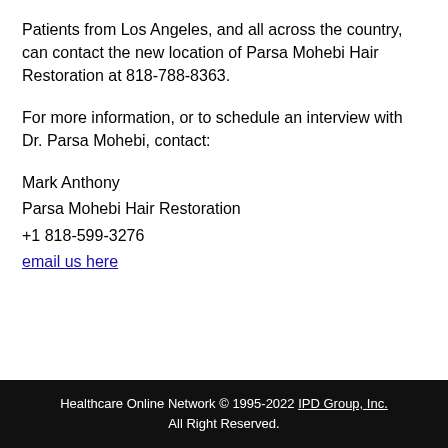Patients from Los Angeles, and all across the country, can contact the new location of Parsa Mohebi Hair Restoration at 818-788-8363.
For more information, or to schedule an interview with Dr. Parsa Mohebi, contact:
Mark Anthony
Parsa Mohebi Hair Restoration
+1 818-599-3276
email us here
Healthcare Online Network © 1995-2022 IPD Group, Inc. All Right Reserved.